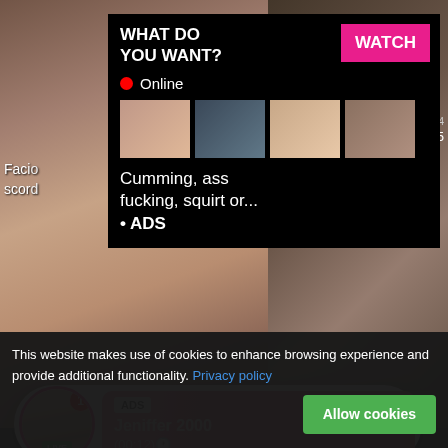[Figure (screenshot): Adult video website screenshot showing video thumbnails, an advertisement popup overlay with 'WHAT DO YOU WANT? WATCH' button, Online indicator, small thumbnails, and text 'Cumming, ass fucking, squirt or... • ADS']
Facio
scord
9:12:24
885
WHAT DO YOU WANT?
WATCH
Online
Cumming, ass fucking, squirt or...
• ADS
[Figure (infographic): Notification pill showing avatar with LIVE badge, red notification badge '1', and pink gradient content area with ADS tag, name 'Jeniffer 2000', time '(00:12)']
ADS
Jeniffer 2000
(00:12)🕐
© 8:51
Live Sexy Models 🔞
She will make the first move
Bored super-steamy Christina
82%   1719
This website makes use of cookies to enhance browsing experience and provide additional functionality. Privacy policy
Allow cookies